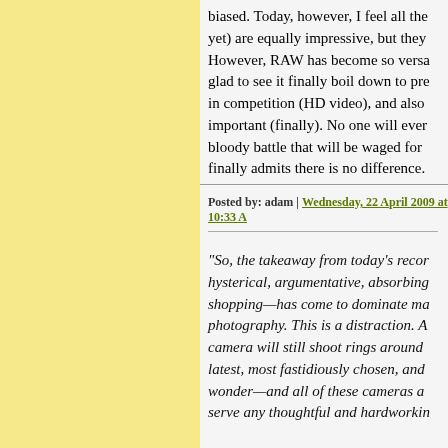biased. Today, however, I feel all the yet) are equally impressive, but they However, RAW has become so versa glad to see it finally boil down to pre in competition (HD video), and also important (finally). No one will ever bloody battle that will be waged for finally admits there is no difference.
Posted by: adam | Wednesday, 22 April 2009 at 10:33 A
"So, the takeaway from today's recor hysterical, argumentative, absorbing shopping—has come to dominate ma photography. This is a distraction. A camera will still shoot rings around latest, most fastidiously chosen, and wonder—and all of these cameras a serve any thoughtful and hardworkin